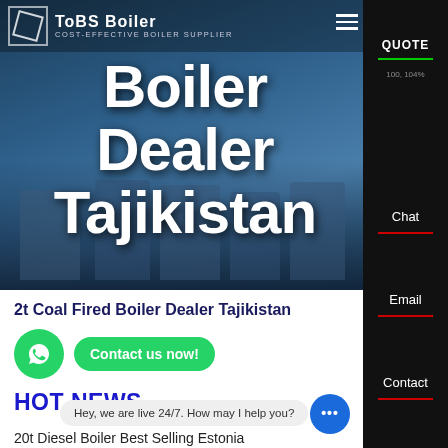[Figure (screenshot): Website hero section showing industrial boilers with blue-tinted industrial background image. Navigation bar at top with logo, 'COST-EFFECTIVE BOILER SUPPLIER' tagline, and hamburger menu. Large white bold text overlay reads 'Boiler Dealer Tajikistan'. Right sidebar with dark background showing QUOTE, Chat, Email, Contact navigation items.]
Boiler Dealer Tajikistan
2t Coal Fired Boiler Dealer Tajikistan
HOT NEWS
Hey, we are live 24/7. How may I help you?
20t Diesel Boiler Best Selling Estonia